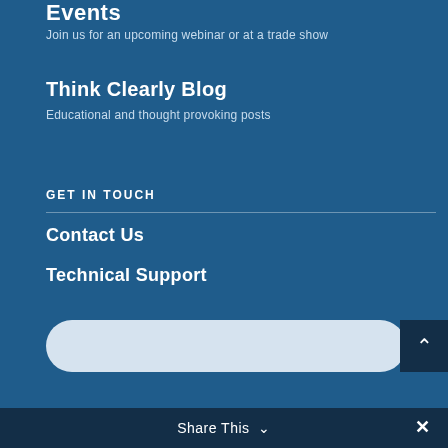Events
Join us for an upcoming webinar or at a trade show
Think Clearly Blog
Educational and thought provoking posts
GET IN TOUCH
Contact Us
Technical Support
[Figure (other): Search input bar with rounded pill shape and a dark blue up-arrow button on the right]
Share This ∨